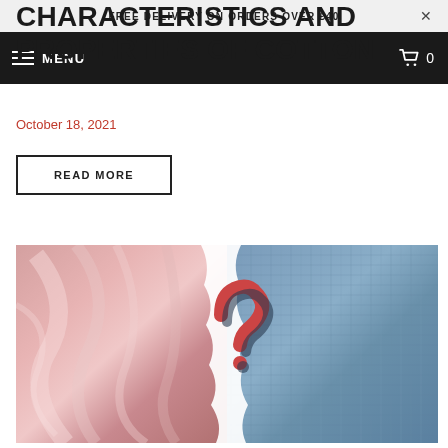FREE DELIVERY ON ORDERS OVER £40
MENU
CHARACTERISTICS AND PROPERTIES OF COTTON
October 18, 2021
READ MORE
[Figure (photo): Split image showing pink satin fabric on the left and blue denim fabric on the right, with a 3D red question mark symbol in the center where the two fabrics meet]